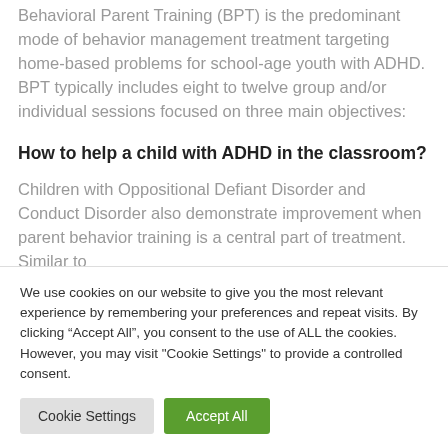Behavioral Parent Training (BPT) is the predominant mode of behavior management treatment targeting home-based problems for school-age youth with ADHD. BPT typically includes eight to twelve group and/or individual sessions focused on three main objectives:
How to help a child with ADHD in the classroom?
Children with Oppositional Defiant Disorder and Conduct Disorder also demonstrate improvement when parent behavior training is a central part of treatment. Similar to
We use cookies on our website to give you the most relevant experience by remembering your preferences and repeat visits. By clicking “Accept All”, you consent to the use of ALL the cookies. However, you may visit "Cookie Settings" to provide a controlled consent.
Cookie Settings | Accept All